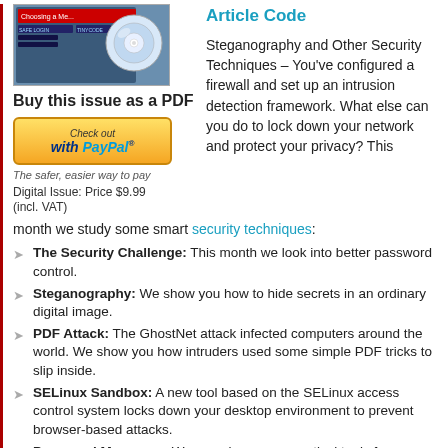[Figure (other): CD/DVD disc with magazine cover 'Choosing a Me...' - digital issue thumbnail]
Buy this issue as a PDF
[Figure (other): PayPal checkout button - yellow gradient button with 'Check out with PayPal' text]
The safer, easier way to pay
Digital Issue: Price $9.99
(incl. VAT)
Article Code
Steganography and Other Security Techniques – You've configured a firewall and set up an intrusion detection framework. What else can you do to lock down your network and protect your privacy? This month we study some smart security techniques:
The Security Challenge: This month we look into better password control.
Steganography: We show you how to hide secrets in an ordinary digital image.
PDF Attack: The GhostNet attack infected computers around the world. We show you how intruders used some simple PDF tricks to slip inside.
SELinux Sandbox: A new tool based on the SELinux access control system locks down your desktop environment to prevent browser-based attacks.
Password Managers: We examine some practical tools for managing Internet passwords.